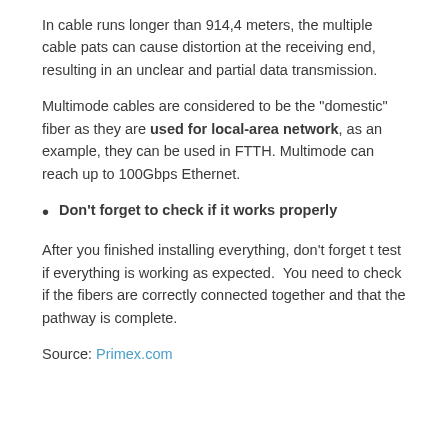In cable runs longer than 914,4 meters, the multiple cable pats can cause distortion at the receiving end, resulting in an unclear and partial data transmission.
Multimode cables are considered to be the “domestic” fiber as they are used for local-area network, as an example, they can be used in FTTH. Multimode can reach up to 100Gbps Ethernet.
Don’t forget to check if it works properly
After you finished installing everything, don’t forget t test if everything is working as expected.  You need to check if the fibers are correctly connected together and that the pathway is complete.
Source: Primex.com